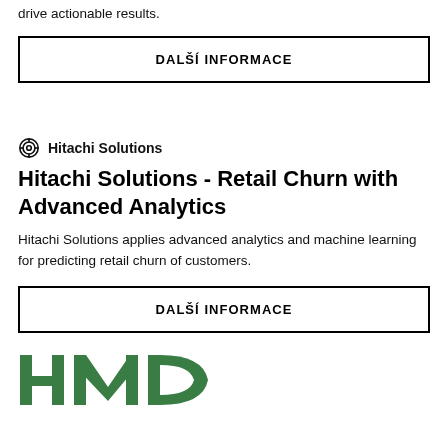drive actionable results.
DALŠÍ INFORMACE
Hitachi Solutions
Hitachi Solutions - Retail Churn with Advanced Analytics
Hitachi Solutions applies advanced analytics and machine learning for predicting retail churn of customers.
DALŠÍ INFORMACE
[Figure (logo): Partial HMD logo in green, cut off at bottom of page]